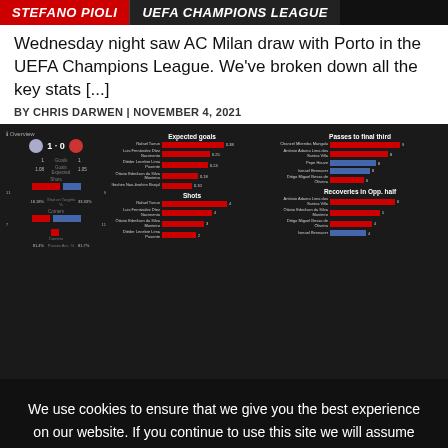STEFANO PIOLI | UEFA CHAMPIONS LEAGUE
Wednesday night saw AC Milan draw with Porto in the UEFA Champions League. We've broken down all the key stats [...]
BY CHRIS DARWEN | NOVEMBER 4, 2021
[Figure (infographic): Match overview infographic showing AC Milan vs Porto stats including goals (1-0), goals expected, shots, shot on target %, corners, corners, passes %, alongside player-level charts for Expected goals, Shots, Passes to final third, and Recoveries in Opp. half with horizontal red and blue bars.]
We use cookies to ensure that we give you the best experience on our website. If you continue to use this site we will assume that you are happy with it.